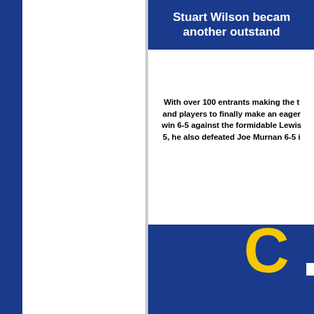Stuart Wilson becam another outstand
With over 100 entrants making the t and players to finally make an eager win 6-5 against the formidable Lewis 5, he also defeated Joe Murnan 6-5 i
[Figure (photo): Partial photo of a person in blue and yellow sports clothing/kit, with a large yellow letter C visible]